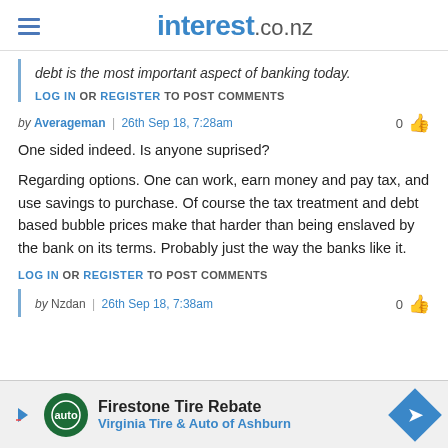interest.co.nz
debt is the most important aspect of banking today.
LOG IN OR REGISTER TO POST COMMENTS
by Averageman | 26th Sep 18, 7:28am
One sided indeed. Is anyone suprised?

Regarding options. One can work, earn money and pay tax, and use savings to purchase. Of course the tax treatment and debt based bubble prices make that harder than being enslaved by the bank on its terms. Probably just the way the banks like it.
LOG IN OR REGISTER TO POST COMMENTS
by Nzdan | 26th Sep 18, 7:38am
[Figure (infographic): Firestone Tire Rebate advertisement - Virginia Tire & Auto of Ashburn banner ad]